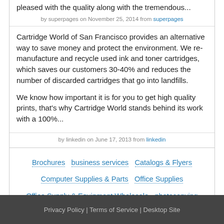pleased with the quality along with the tremendous...
by superpages on November 25, 2014 from superpages
Cartridge World of San Francisco provides an alternative way to save money and protect the environment. We re-manufacture and recycle used ink and toner cartridges, which saves our customers 30-40% and reduces the number of discarded cartridges that go into landfills.

We know how important it is for you to get high quality prints, that's why Cartridge World stands behind its work with a 100%...
by linkedin on June 17, 2013 from linkedin
Brochures
business services
Catalogs & Flyers
Computer Supplies & Parts
Office Supplies
Office Supply & Equipment Wholesale
photocopying
Printing Equipment-repairing
Stationery
Utilities
Privacy Policy | Terms of Service | Desktop Site